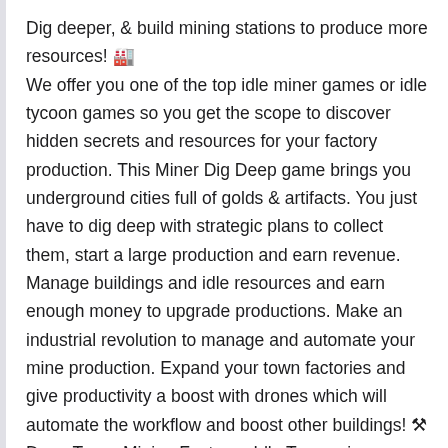Dig deeper, & build mining stations to produce more resources! 🏭 We offer you one of the top idle miner games or idle tycoon games so you get the scope to discover hidden secrets and resources for your factory production. This Miner Dig Deep game brings you underground cities full of golds & artifacts. You just have to dig deep with strategic plans to collect them, start a large production and earn revenue. Manage buildings and idle resources and earn enough money to upgrade productions. Make an industrial revolution to manage and automate your mine production. Expand your town factories and give productivity a boost with drones which will automate the workflow and boost other buildings! ⚒ Deep Town: Mining Factory - Idle Tycoon is a mining simulator or an idle industrial simulation game that mixes digging, crafting, and management to earn profit and advance your town. Our idle tycoon game aims to...